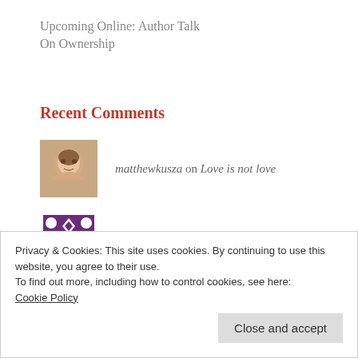Upcoming Online: Author Talk
On Ownership
Recent Comments
matthewkusza on Love is not love
Naomi on Taste: can things be good if t...
alysiaconstantine on O, Pittsburgh.
Privacy & Cookies: This site uses cookies. By continuing to use this website, you agree to their use.
To find out more, including how to control cookies, see here: Cookie Policy
Close and accept